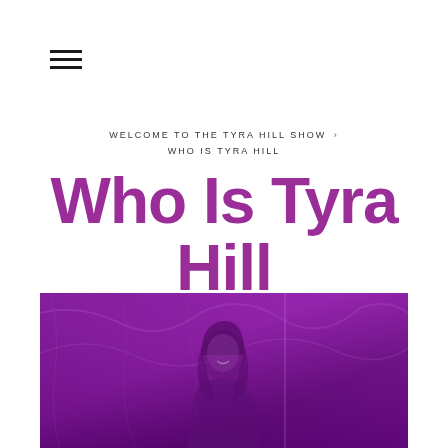[Figure (other): Hamburger menu icon (three horizontal lines)]
WELCOME TO THE TYRA HILL SHOW > WHO IS TYRA HILL
Who Is Tyra Hill
[Figure (photo): Purple-tinted photo of Tyra Hill, a woman with long dark hair, smiling, with a nature/trees background. The image has a strong purple/violet color overlay giving it a monochromatic purple appearance. A vertical dividing line appears roughly 2/3 across the photo.]